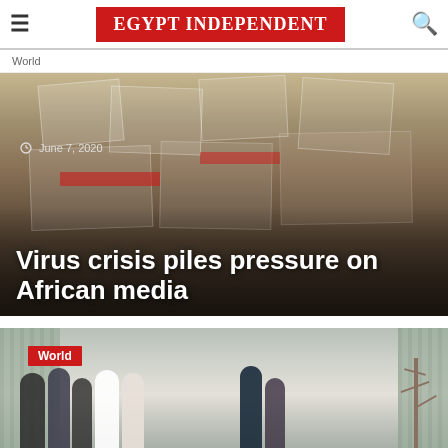EGYPT INDEPENDENT
World
[Figure (photo): A newspaper stand showing multiple African newspapers including Al Jazeera, Vanguard, Leadership, and others, with hands reaching across the papers.]
June 7, 2020
Virus crisis piles pressure on African media
[Figure (photo): Group of people including religious figures and officials standing outside a building, with a bare tree visible on the right side.]
World